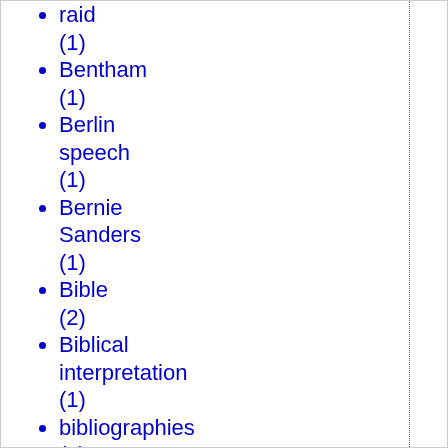raid (1)
Bentham (1)
Berlin speech (1)
Bernie Sanders (1)
Bible (2)
Biblical interpretation (1)
bibliographies (1)
Big Ag (1)
Bill Gates (1)
bioethics (3)